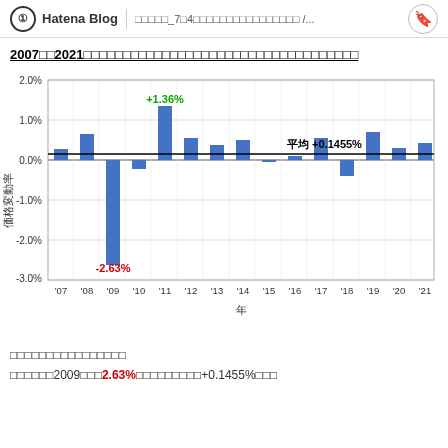Hatena Blog　□□□□□_7□4□□□□□□□□□□□□□□□□ /...
2007□□2021□□□□□□□□□□□□□□□□□□□□□□□□□□□□□□□□□□□
[Figure (bar-chart): 2007〜2021年価格変動率]
□□□□□□□□□□□□□□□□
□□□□□□2009□□□2.63%□□□□□□□□□+0.1455%□□□